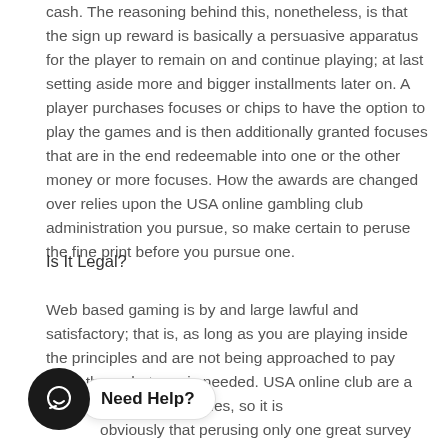cash. The reasoning behind this, nonetheless, is that the sign up reward is basically a persuasive apparatus for the player to remain on and continue playing; at last setting aside more and bigger installments later on. A player purchases focuses or chips to have the option to play the games and is then additionally granted focuses that are in the end redeemable into one or the other money or more focuses. How the awards are changed over relies upon the USA online gambling club administration you pursue, so make certain to peruse the fine print before you pursue one.
Is It Legal?
Web based gaming is by and large lawful and satisfactory; that is, as long as you are playing inside the principles and are not being approached to pay more than whatever is needed. USA online club are a bit; and fake locales, so it is obviously that perusing only one great survey of a help is certainly not an astute move. Keep in mind, as a
[Figure (other): Chat widget with dark circle icon showing a chat/smile icon and a white speech bubble pill showing 'Need Help?' in bold text]